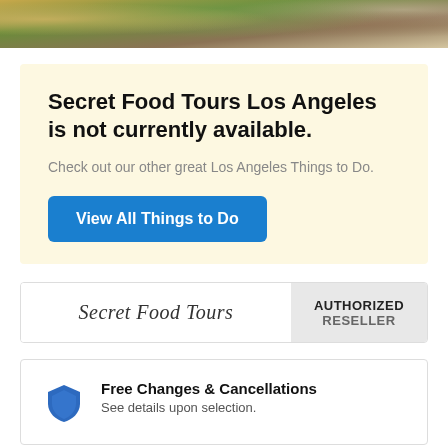[Figure (photo): Cropped top photo strip showing food items with green herbs and golden/brown tones]
Secret Food Tours Los Angeles is not currently available.
Check out our other great Los Angeles Things to Do.
View All Things to Do
[Figure (logo): Secret Food Tours logo in cursive script, with AUTHORIZED RESELLER badge on right]
Free Changes & Cancellations
See details upon selection.